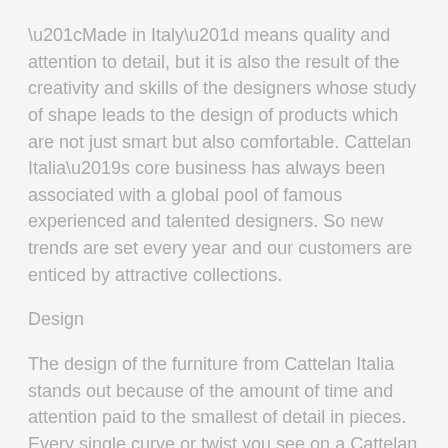“Made in Italy” means quality and attention to detail, but it is also the result of the creativity and skills of the designers whose study of shape leads to the design of products which are not just smart but also comfortable. Cattelan Italia’s core business has always been associated with a global pool of famous experienced and talented designers. So new trends are set every year and our customers are enticed by attractive collections.
Design
The design of the furniture from Cattelan Italia stands out because of the amount of time and attention paid to the smallest of detail in pieces. Every single curve or twist you see on a Cattelan Italia was carefully thought through. Their designs